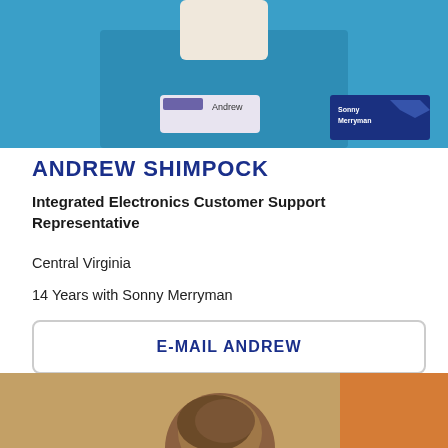[Figure (photo): Person wearing a blue Sonny Merryman polo shirt with a name badge reading 'Andrew']
ANDREW SHIMPOCK
Integrated Electronics Customer Support Representative
Central Virginia
14 Years with Sonny Merryman
E-MAIL ANDREW
[Figure (photo): Partial photo of another person, bottom of page]